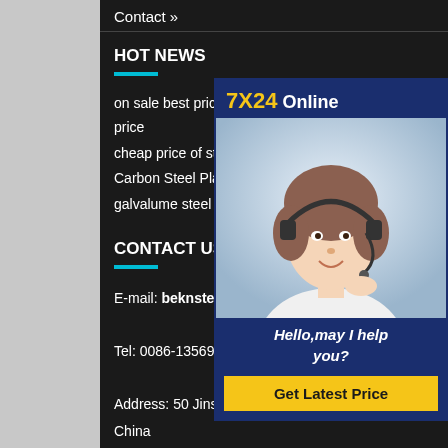Contact »
HOT NEWS
on sale best price color coated st… price
cheap price of stainless sheet pri…
Carbon Steel Plate Manufacturer…
galvalume steel in coils plates
CONTACT US
E-mail: beknsteels@163.com
Tel: 0086-13569929107
Address: 50 Jinshui Road, Henan Province China
[Figure (infographic): 7X24 Online chat widget with a photo of a woman wearing a headset, text 'Hello,may I help you?' and a 'Get Latest Price' button]